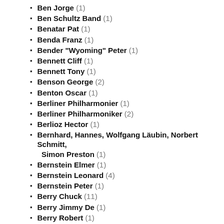Ben Jorge (1)
Ben Schultz Band (1)
Benatar Pat (1)
Benda Franz (1)
Bender "Wyoming" Peter (1)
Bennett Cliff (1)
Bennett Tony (1)
Benson George (2)
Benton Oscar (1)
Berliner Philharmonier (1)
Berliner Philharmoniker (2)
Berlioz Hector (1)
Bernhard, Hannes, Wolfgang Läubin, Norbert Schmitt, Simon Preston (1)
Bernstein Elmer (1)
Bernstein Leonard (4)
Bernstein Peter (1)
Berry Chuck (11)
Berry Jimmy De (1)
Berry Robert (1)
Berthon Jean-Claude (1)